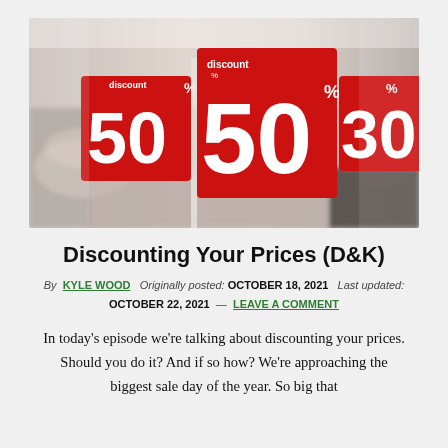[Figure (photo): A retail store interior with red discount signs showing 50%, 50%, and 30% on clothing racks with blurred background.]
Discounting Your Prices (D&K)
By KYLE WOOD  Originally posted: OCTOBER 18, 2021  Last updated: OCTOBER 22, 2021  —  LEAVE A COMMENT
In today's episode we're talking about discounting your prices. Should you do it? And if so how? We're approaching the biggest sale day of the year. So big that